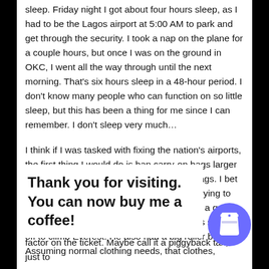sleep. Friday night I got about four hours sleep, as I had to be the Lagos airport at 5:00 AM to park and get through the security. I took a nap on the plane for a couple hours, but once I was on the ground in OKC, I went all the way through until the next morning. That's six hours sleep in a 48-hour period. I don't know many people who can function on so little sleep, but this has been a thing for me since I can remember. I don't sleep very much…
I think if I was tasked with fixing the nation's airports, the first thing I would do is ban carry-on bags larger than a small bag. No backpacks or roller bags. I bet half the hassle of loading a plane is idiots trying to drag a steamer trunk on to the plane. I saw a guy with a backpack so big it looked like he was setting off to climb Everest. He also had a big roller bag. Assuming normal clothing needs, that
clothes,
Thank you for visiting. You can now buy me a coffee!
ht factor on the ticket. Maybe call it a piggyback tax, just to